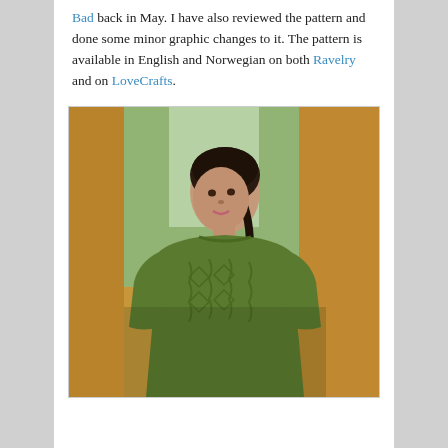Bad back in May. I have also reviewed the pattern and done some minor graphic changes to it. The pattern is available in English and Norwegian on both Ravelry and on LoveCrafts.
[Figure (photo): A woman with dark hair in a braid wearing a green cable-knit sweater, standing near a golden-yellow wooden pillar with a blurred green background.]